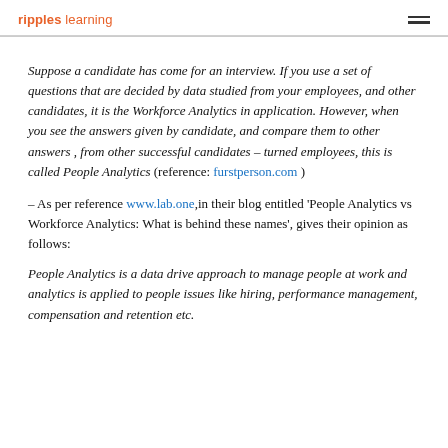ripples learning
Suppose a candidate has come for an interview. If you use a set of questions that are decided by data studied from your employees, and other candidates, it is the Workforce Analytics in application. However, when you see the answers given by candidate, and compare them to other answers , from other successful candidates – turned employees, this is called People Analytics (reference: furstperson.com )
– As per reference www.lab.one, in their blog entitled 'People Analytics vs Workforce Analytics: What is behind these names', gives their opinion as follows:
People Analytics is a data drive approach to manage people at work and analytics is applied to people issues like hiring, performance management, compensation and retention etc.